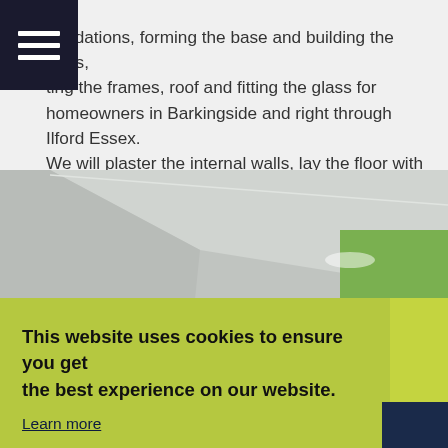foundations, forming the base and building the walls, ting the frames, roof and fitting the glass for homeowners in Barkingside and right through Ilford Essex. We will plaster the internal walls, lay the floor with a flooring of your choice and install the electric sockets and lighting if required.
[Figure (photo): Interior room photo showing ceiling and walls with green accent, partially obscured by cookie consent banner]
This website uses cookies to ensure you get the best experience on our website. Learn more
Got it!